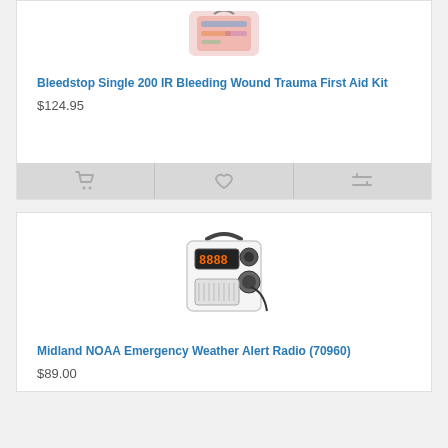[Figure (photo): Bleedstop first aid kit product image, partially visible at top]
Bleedstop Single 200 IR Bleeding Wound Trauma First Aid Kit
$124.95
[Figure (photo): Midland NOAA Emergency Weather Alert Radio product image]
Midland NOAA Emergency Weather Alert Radio (70960)
$89.00